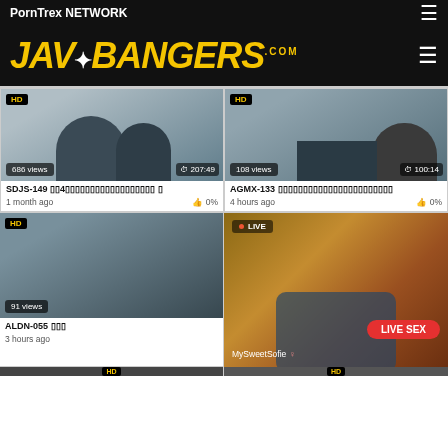PornTrex NETWORK
[Figure (logo): JAVBangers.com logo in yellow italic bold font on black background]
[Figure (screenshot): Video thumbnail showing office scene, 686 views, duration 207:49, title SDJS-149, 1 month ago, 0% likes]
[Figure (screenshot): Video thumbnail showing scene, 108 views, duration 100:14, title AGMX-133, 4 hours ago, 0% likes]
[Figure (screenshot): Video card with HD badge, 91 views, title ALDN-055, 3 hours ago]
[Figure (screenshot): LIVE stream overlay with warm brown tones, LIVE badge, LIVE SEX button, user MySweetSofie]